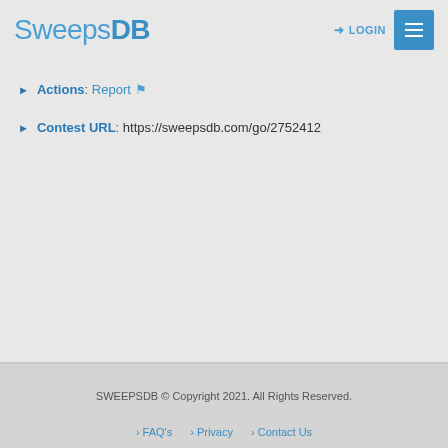SweepsDB
Actions: Report
Contest URL: https://sweepsdb.com/go/2752412
SWEEPSDB © Copyright 2021. All Rights Reserved. › FAQ's › Privacy › Contact Us